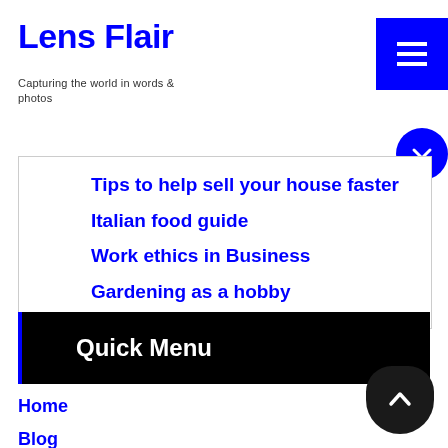Lens Flair
Capturing the world in words & photos
Tips to help sell your house faster
Italian food guide
Work ethics in Business
Gardening as a hobby
Quick Menu
Home
Blog
Business